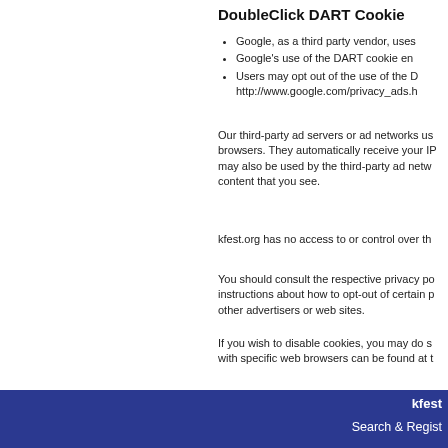DoubleClick DART Cookie
Google, as a third party vendor, uses
Google's use of the DART cookie en
Users may opt out of the use of the D http://www.google.com/privacy_ads.h
Our third-party ad servers or ad networks us browsers. They automatically receive your IP may also be used by the third-party ad netw content that you see.
kfest.org has no access to or control over th
You should consult the respective privacy po instructions about how to opt-out of certain p other advertisers or web sites.
If you wish to disable cookies, you may do s with specific web browsers can be found at t
[Figure (screenshot): Domain search banner with golden/orange background showing 'domain SEARCH' text and a white input box]
kfest
Search & Regist